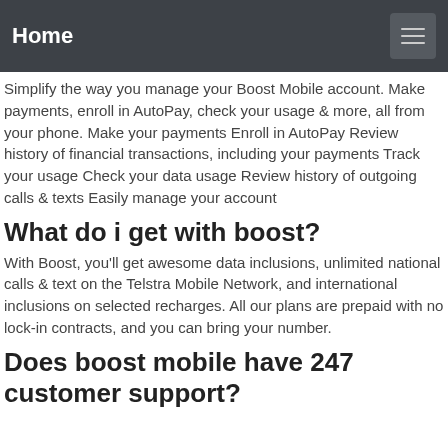Home
Simplify the way you manage your Boost Mobile account. Make payments, enroll in AutoPay, check your usage & more, all from your phone. Make your payments Enroll in AutoPay Review history of financial transactions, including your payments Track your usage Check your data usage Review history of outgoing calls & texts Easily manage your account
What do i get with boost?
With Boost, you'll get awesome data inclusions, unlimited national calls & text on the Telstra Mobile Network, and international inclusions on selected recharges. All our plans are prepaid with no lock-in contracts, and you can bring your number.
Does boost mobile have 247 customer support?